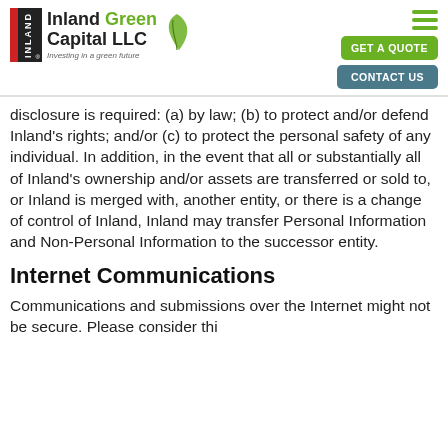Inland Green Capital LLC — Investing in a green future | GET A QUOTE | CONTACT US
disclosure is required: (a) by law; (b) to protect and/or defend Inland's rights; and/or (c) to protect the personal safety of any individual. In addition, in the event that all or substantially all of Inland's ownership and/or assets are transferred or sold to, or Inland is merged with, another entity, or there is a change of control of Inland, Inland may transfer Personal Information and Non-Personal Information to the successor entity.
Internet Communications
Communications and submissions over the Internet might not be secure. Please consider this